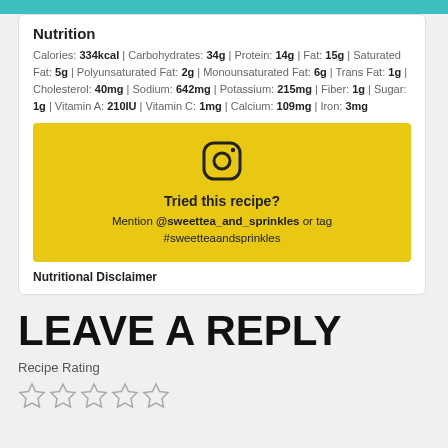Nutrition
Calories: 334kcal | Carbohydrates: 34g | Protein: 14g | Fat: 15g | Saturated Fat: 5g | Polyunsaturated Fat: 2g | Monounsaturated Fat: 6g | Trans Fat: 1g | Cholesterol: 40mg | Sodium: 642mg | Potassium: 215mg | Fiber: 1g | Sugar: 1g | Vitamin A: 210IU | Vitamin C: 1mg | Calcium: 109mg | Iron: 3mg
[Figure (infographic): Yellow box with Instagram icon, 'Tried this recipe?' heading, and text 'Mention @sweettea_and_sprinkles or tag #sweetteaandsprinkles']
Nutritional Disclaimer
LEAVE A REPLY
Recipe Rating
[Figure (other): Five empty star rating icons]